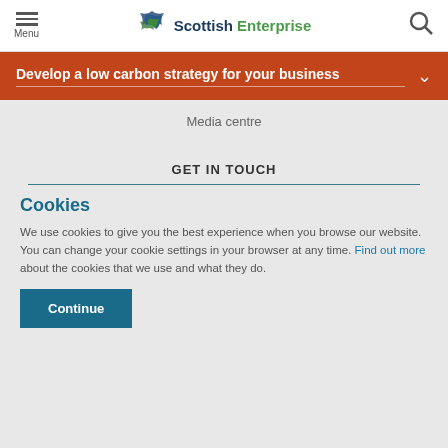Menu | Scottish Enterprise | Search
Develop a low carbon strategy for your business
Media centre
GET IN TOUCH
Cookies
We use cookies to give you the best experience when you browse our website. You can change your cookie settings in your browser at any time. Find out more about the cookies that we use and what they do.
Continue